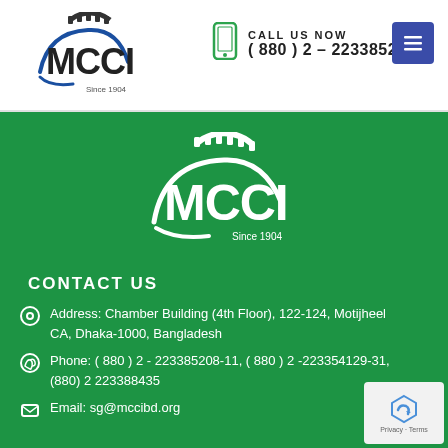[Figure (logo): MCCI logo with gear and swoosh, text 'MCCI Since 1904']
CALL US NOW ( 880 ) 2 - 223385208
[Figure (logo): MCCI white logo on green background, Since 1904]
CONTACT US
Address: Chamber Building (4th Floor), 122-124, Motijheel CA, Dhaka-1000, Bangladesh
Phone: ( 880 ) 2 - 223385208-11, ( 880 ) 2 -223354129-31, (880) 2 223388435
Email: sg@mccibd.org